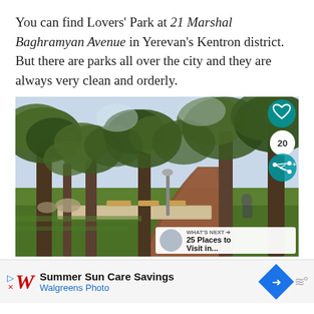You can find Lovers' Park at 21 Marshal Baghramyan Avenue in Yerevan's Kentron district.  But there are parks all over the city and they are always very clean and orderly.
[Figure (photo): Photograph of Lovers' Park in Yerevan showing a tree-lined path with a brick walkway, green grass, benches, and UI overlays including a heart button, share count of 20, share button, and a 'What's Next: 25 Places to Visit in...' panel.]
Summer Sun Care Savings
Walgreens Photo